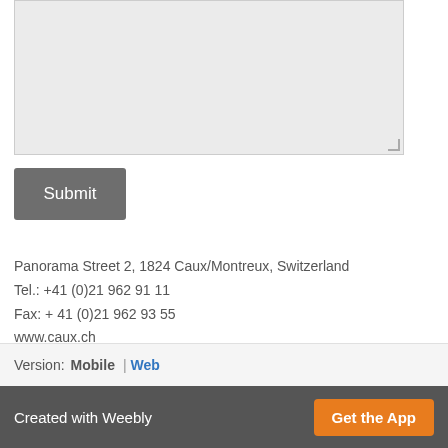[Figure (screenshot): A large light grey textarea input box with a resize handle at the bottom-right corner]
Submit
Panorama Street 2, 1824 Caux/Montreux, Switzerland
Tel.: +41 (0)21 962 91 11
Fax: + 41 (0)21 962 93 55
www.caux.ch
Version:   Mobile | Web
Created with Weebly   Get the App